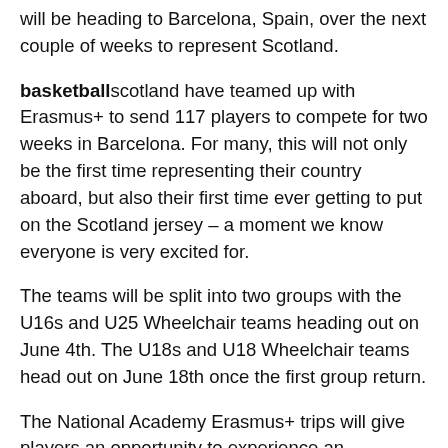will be heading to Barcelona, Spain, over the next couple of weeks to represent Scotland.
basketballscotland have teamed up with Erasmus+ to send 117 players to compete for two weeks in Barcelona. For many, this will not only be the first time representing their country aboard, but also their first time ever getting to put on the Scotland jersey – a moment we know everyone is very excited for.
The teams will be split into two groups with the U16s and U25 Wheelchair teams heading out on June 4th. The U18s and U18 Wheelchair teams head out on June 18th once the first group return.
The National Academy Erasmus+ trips will give players an opportunity to experience an overseas, professional basketball environment, which will include plenty of learning, some games and cultural activities.
To all our players and staff who are heading out there: have a safe journey and a great time!